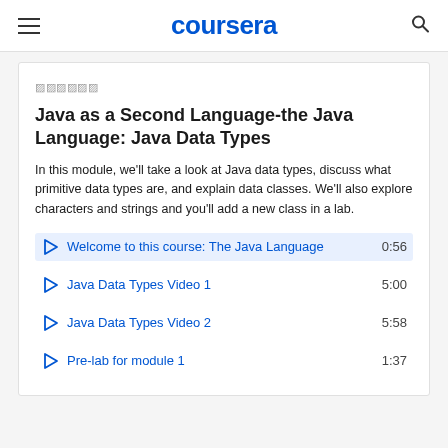coursera
🔲🔲🔲🔲🔲🔲
Java as a Second Language-the Java Language: Java Data Types
In this module, we'll take a look at Java data types, discuss what primitive data types are, and explain data classes. We'll also explore characters and strings and you'll add a new class in a lab.
Welcome to this course: The Java Language  0:56
Java Data Types Video 1  5:00
Java Data Types Video 2  5:58
Pre-lab for module 1  1:37